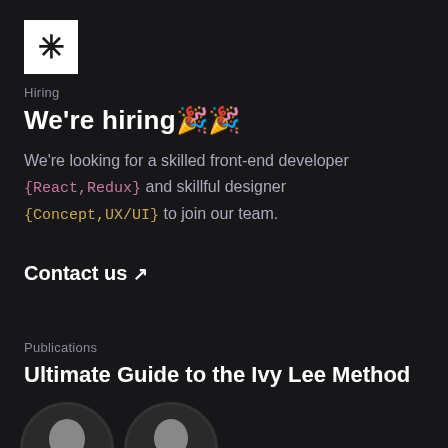[Figure (logo): White square with black asterisk/star symbol]
Hiring
We're hiring🎉🎉
We're looking for a skilled front-end developer {React,Redux} and skillful designer {Concept,UX/UI} to join our team.
Contact us ↗
Publications
Ultimate Guide to the Ivy Lee Method
[Figure (photo): Two circular black and white portrait photos of historical figures]